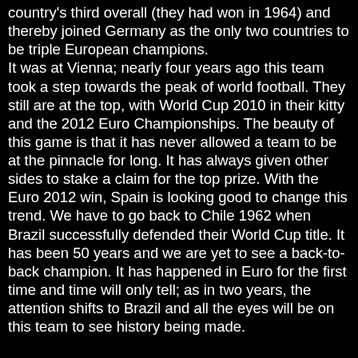country's third overall (they had won in 1964) and thereby joined Germany as the only two countries to be triple European champions. It was at Vienna; nearly four years ago this team took a step towards the peak of world football. They still are at the top, with World Cup 2010 in their kitty and the 2012 Euro Championships. The beauty of this game is that it has never allowed a team to be at the pinnacle for long. It has always given other sides to stake a claim for the top prize. With the Euro 2012 win, Spain is looking good to change this trend. We have to go back to Chile 1962 when Brazil successfully defended their World Cup title. It has been 50 years and we are yet to see a back-to-back champion. It has happened in Euro for the first time and time will only tell; as in two years, the attention shifts to Brazil and all the eyes will be on this team to see history being made.